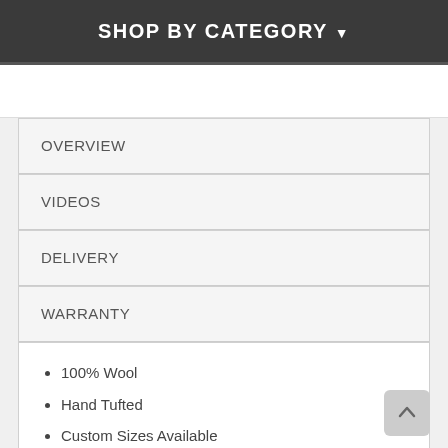SHOP BY CATEGORY ▾
OVERVIEW
VIDEOS
DELIVERY
WARRANTY
100% Wool
Hand Tufted
Custom Sizes Available
Made in India
Colors: Charcoal, Spa, Rust, Red, Cream, Light Brown, Bla...